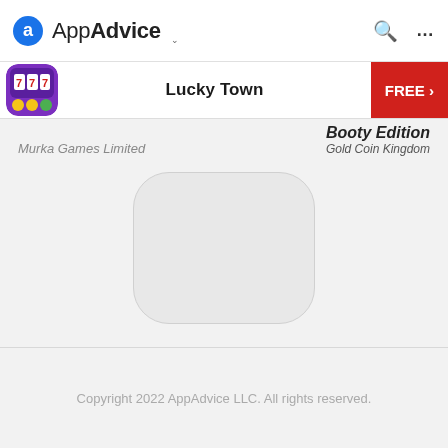AppAdvice
[Figure (screenshot): AppAdvice website navigation bar with logo, search icon, and menu icon]
Lucky Town
FREE >
Murka Games Limited
Booty Edition
Gold Coin Kingdom
[Figure (illustration): Empty rounded square app icon placeholder for Ace Slots Machines Casino TV]
Ace Slots Machines Casino TV
Tiny Mobile Inc.
Copyright 2022 AppAdvice LLC. All rights reserved.